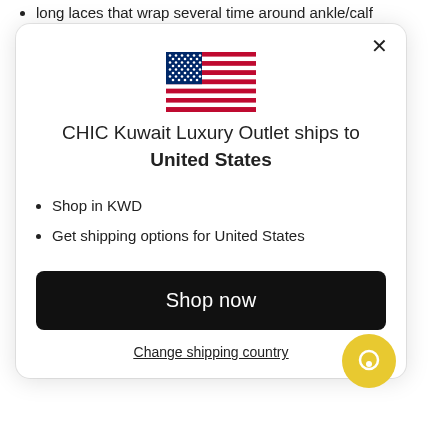long laces that wrap several time around ankle/calf
cushioned insole
[Figure (illustration): US flag emoji/icon]
CHIC Kuwait Luxury Outlet ships to United States
Shop in KWD
Get shipping options for United States
Shop now
Change shipping country